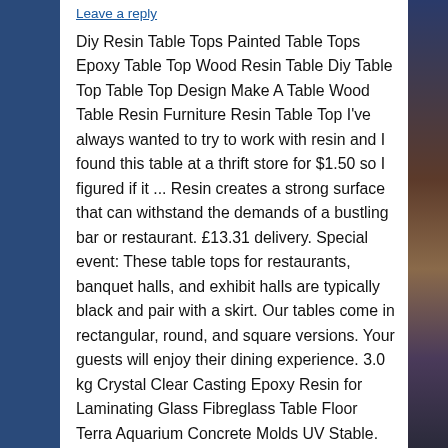Leave a reply
Diy Resin Table Tops Painted Table Tops Epoxy Table Top Wood Resin Table Diy Table Top Table Top Design Make A Table Wood Table Resin Furniture Resin Table Top I've always wanted to try to work with resin and I found this table at a thrift store for $1.50 so I figured if it ... Resin creates a strong surface that can withstand the demands of a bustling bar or restaurant. £13.31 delivery. Special event: These table tops for restaurants, banquet halls, and exhibit halls are typically black and pair with a skirt. Our tables come in rectangular, round, and square versions. Your guests will enjoy their dining experience. 3.0 kg Crystal Clear Casting Epoxy Resin for Laminating Glass Fibreglass Table Floor Terra Aquarium Concrete Molds UV Stable. So, whatever your style, we'll have a table top online that's just what you want. Don't underestimate the contribution that the right table top makes to the